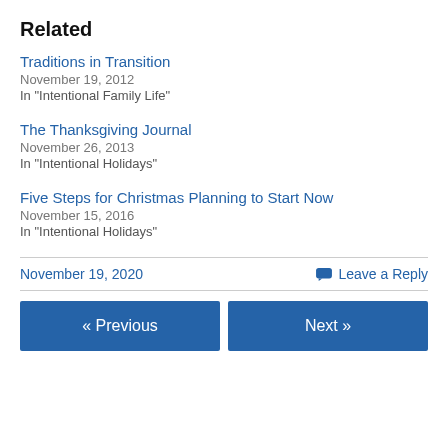Related
Traditions in Transition
November 19, 2012
In "Intentional Family Life"
The Thanksgiving Journal
November 26, 2013
In "Intentional Holidays"
Five Steps for Christmas Planning to Start Now
November 15, 2016
In "Intentional Holidays"
November 19, 2020    Leave a Reply
« Previous    Next »